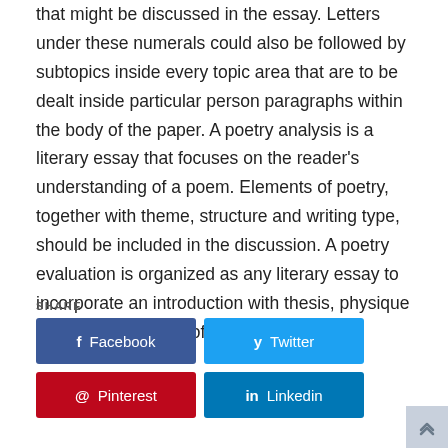that might be discussed in the essay. Letters under these numerals could also be followed by subtopics inside every topic area that are to be dealt inside particular person paragraphs within the body of the paper. A poetry analysis is a literary essay that focuses on the reader's understanding of a poem. Elements of poetry, together with theme, structure and writing type, should be included in the discussion. A poetry evaluation is organized as any literary essay to incorporate an introduction with thesis, physique paragraphs with proof and a conclusion.
SHARE
Facebook | Twitter | Pinterest | Linkedin